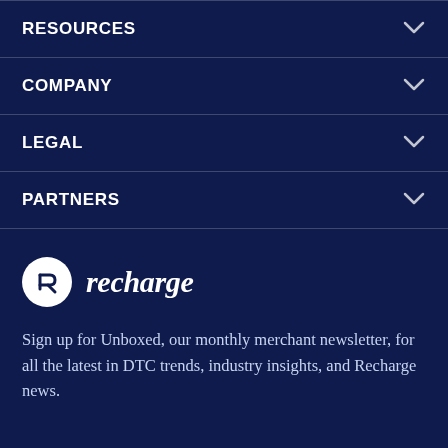RESOURCES
COMPANY
LEGAL
PARTNERS
[Figure (logo): Recharge logo: white circle with stylized 'R' arrow icon, followed by italic bold text 'recharge']
Sign up for Unboxed, our monthly merchant newsletter, for all the latest in DTC trends, industry insights, and Recharge news.